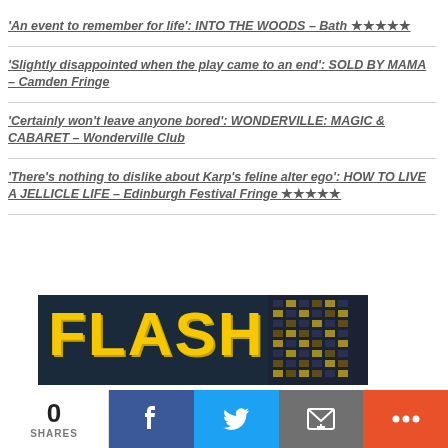‘An event to remember for life’: INTO THE WOODS – Bath ★★★★★
‘Slightly disappointed when the play came to an end’: SOLD BY MAMA – Camden Fringe
‘Certainly won’t leave anyone bored’: WONDERVILLE: MAGIC & CABARET – Wonderville Club
‘There’s nothing to dislike about Karp’s feline alter ego’: HOW TO LIVE A JELLICLE LIFE – Edinburgh Festival Fringe ★★★★★
[Figure (photo): Image showing the word FLASH in large yellow distressed lettering on a dark background, with a building with lit windows visible on the right side.]
0 SHARES | Facebook share button | Twitter share button | Email share button | More button